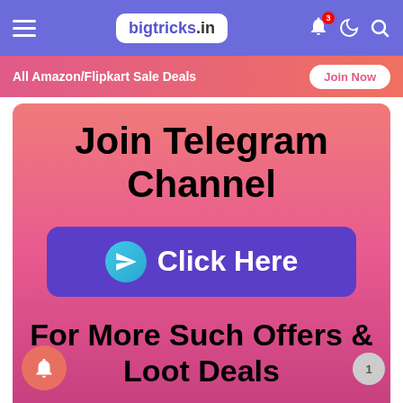bigtricks.in
All Amazon/Flipkart Sale Deals   Join Now
[Figure (screenshot): Mobile website screenshot showing a call-to-action card with gradient pink background. Large bold text reads 'Join Telegram Channel', a purple button says 'Click Here' with Telegram icon, and below text reads 'For More Such Offers & Loot Deals'.]